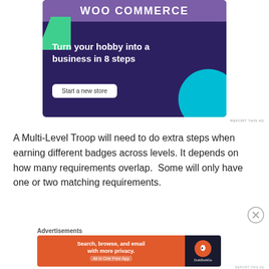[Figure (screenshot): WooCommerce advertisement banner with purple background, green triangle shape, teal circle, white headline 'Turn your hobby into a business in 8 steps', and a 'Start a new store' button]
A Multi-Level Troop will need to do extra steps when earning different badges across levels. It depends on how many requirements overlap. Some will only have one or two matching requirements.
[Figure (screenshot): DuckDuckGo advertisement banner with orange left panel reading 'Search, browse, and email with more privacy. All in One Free App' and dark right panel with DuckDuckGo logo]